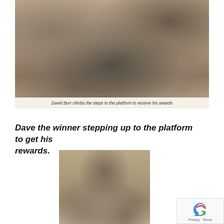[Figure (photo): Black and white newspaper photograph of a crowd scene with thatched roof structures visible, showing a person climbing steps to a platform to receive awards]
David Burr climbs the steps to the platform to receive his awards
Dave the winner stepping up to the platform to get his rewards.
[Figure (photo): Black and white newspaper photograph of a young man, presumably David Burr, with trophies or awards visible in front of him]